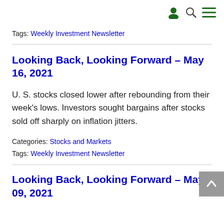Icons: person, search, menu
Tags: Weekly Investment Newsletter
Looking Back, Looking Forward – May 16, 2021
U. S. stocks closed lower after rebounding from their week's lows. Investors sought bargains after stocks sold off sharply on inflation jitters.
Categories: Stocks and Markets
Tags: Weekly Investment Newsletter
Looking Back, Looking Forward – May 09, 2021